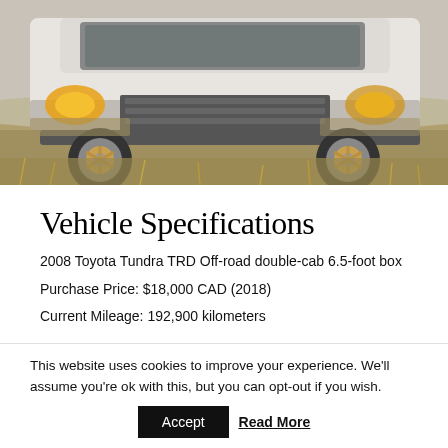[Figure (photo): White Toyota Tundra TRD Off-road truck driving through a dry field, front/undercarriage view showing lifted suspension and bronze aftermarket wheels, with headlights on.]
Vehicle Specifications
2008 Toyota Tundra TRD Off-road double-cab 6.5-foot box
Purchase Price: $18,000 CAD (2018)
Current Mileage: 192,900 kilometers
Driveline
5.7L 3UR-FE
6-speed automatic transmission
This website uses cookies to improve your experience. We'll assume you're ok with this, but you can opt-out if you wish.